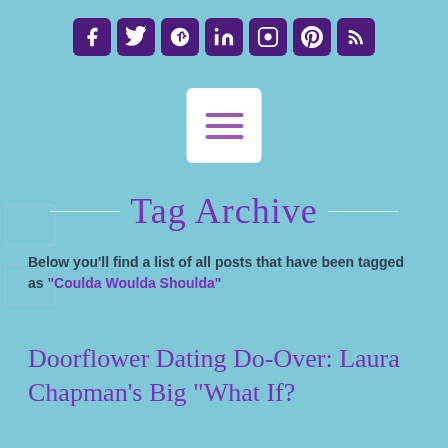[Figure (infographic): Row of social media icon buttons (Facebook, Twitter, Google+, LinkedIn, Instagram, Pinterest, RSS) in dark purple rounded square boxes]
[Figure (other): White rounded square menu/hamburger button with three purple horizontal lines]
Tag Archive
Below you'll find a list of all posts that have been tagged as "Coulda Woulda Shoulda"
Doorflower Dating Do-Over: Laura Chapman's Big “What If?